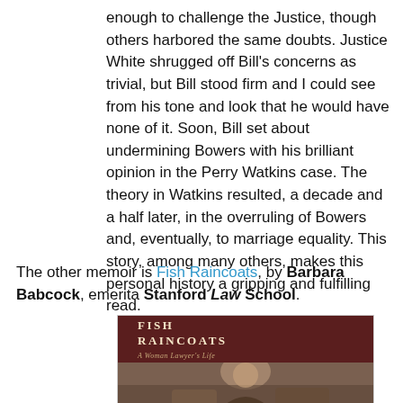enough to challenge the Justice, though others harbored the same doubts. Justice White shrugged off Bill's concerns as trivial, but Bill stood firm and I could see from his tone and look that he would have none of it. Soon, Bill set about undermining Bowers with his brilliant opinion in the Perry Watkins case. The theory in Watkins resulted, a decade and a half later, in the overruling of Bowers and, eventually, to marriage equality. This story, among many others, makes this personal history a gripping and fulfilling read.
The other memoir is Fish Raincoats, by Barbara Babcock, emerita Stanford Law School.
[Figure (photo): Book cover of 'Fish Raincoats: A Woman Lawyer's Life' showing a dark red/maroon top section with the title in gold letters and subtitle in smaller gold italic text, below which is a sepia-toned photograph of a smiling woman.]